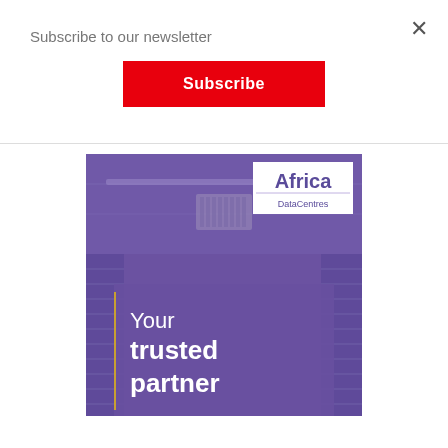×
Subscribe to our newsletter
Subscribe
[Figure (illustration): Africa DataCentres advertisement banner showing a purple-tinted data center interior with the text 'Your trusted partner' and the Africa DataCentres logo in the top right corner.]